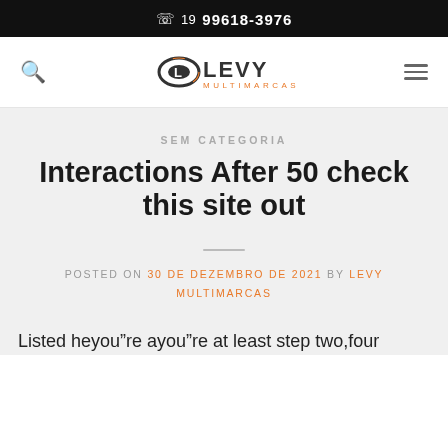☎ 19 99618-3976
[Figure (logo): Levy Multimarcas logo with stylized L and D emblem in black and orange]
SEM CATEGORIA
Interactions After 50 check this site out
POSTED ON 30 DE DEZEMBRO DE 2021 BY LEVY MULTIMARCAS
Listed heyou"re ayou"re at least step two,four